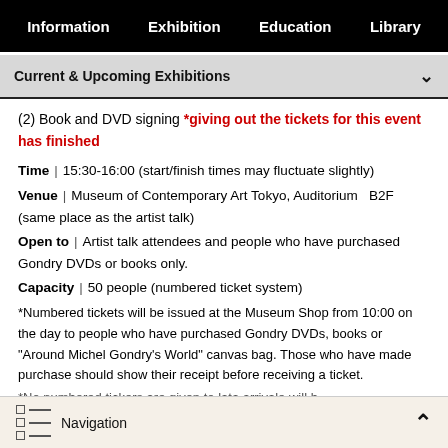Information | Exhibition | Education | Library
Current & Upcoming Exhibitions
(2) Book and DVD signing *giving out the tickets for this event has finished
Time | 15:30-16:00 (start/finish times may fluctuate slightly)
Venue | Museum of Contemporary Art Tokyo, Auditorium   B2F (same place as the artist talk)
Open to | Artist talk attendees and people who have purchased Gondry DVDs or books only.
Capacity | 50 people (numbered ticket system)
*Numbered tickets will be issued at the Museum Shop from 10:00 on the day to people who have purchased Gondry DVDs, books or "Around Michel Gondry's World" canvas bag. Those who have made purchase should show their receipt before receiving a ticket.
Navigation